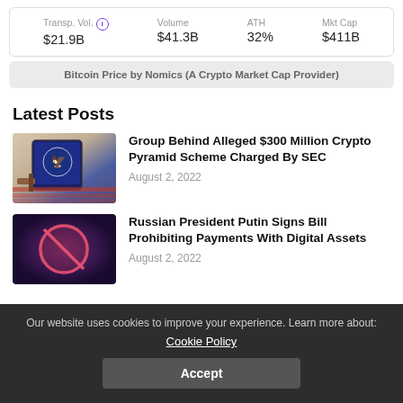| Transp. Vol. | Volume | ATH | Mkt Cap |
| --- | --- | --- | --- |
| $21.9B | $41.3B | 32% | $411B |
Bitcoin Price by Nomics (A Crypto Market Cap Provider)
Latest Posts
[Figure (photo): SEC logo on tablet with gavel and American flag background]
Group Behind Alleged $300 Million Crypto Pyramid Scheme Charged By SEC
August 2, 2022
[Figure (photo): Neon red prohibition sign on dark purple background]
Russian President Putin Signs Bill Prohibiting Payments With Digital Assets
August 2, 2022
Our website uses cookies to improve your experience. Learn more about:
Cookie Policy
Accept